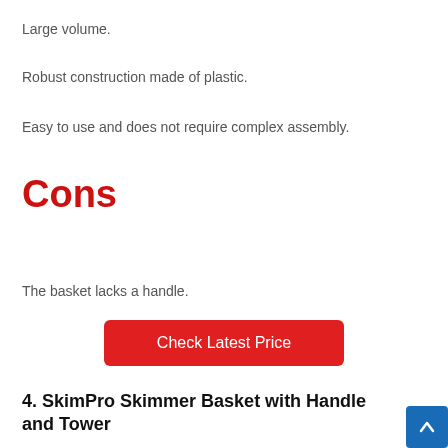Large volume.
Robust construction made of plastic.
Easy to use and does not require complex assembly.
Cons
The basket lacks a handle.
Check Latest Price
4. SkimPro Skimmer Basket with Handle and Tower